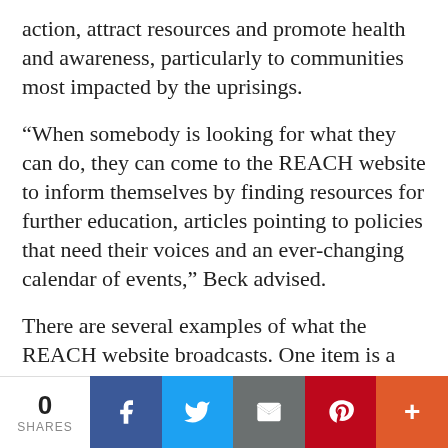action, attract resources and promote health and awareness, particularly to communities most impacted by the uprisings.
“When somebody is looking for what they can do, they can come to the REACH website to inform themselves by finding resources for further education, articles pointing to policies that need their voices and an ever-changing calendar of events,” Beck advised.
There are several examples of what the REACH website broadcasts. One item is a call to assist Miss Linda, a resident who was being evicted from her home. “Someone at PPNA is dedicated to advocacy work, so while REACH